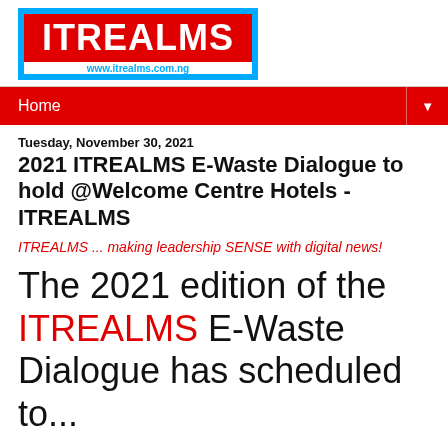[Figure (logo): ITREALMS logo with blue border, red background, white bold text 'ITREALMS' and URL www.itrealms.com.ng below]
Home ▼
Tuesday, November 30, 2021
2021 ITREALMS E-Waste Dialogue to hold @Welcome Centre Hotels - ITREALMS
ITREALMS ... making leadership SENSE with digital news!
The 2021 edition of the ITREALMS E-Waste Dialogue has scheduled to...